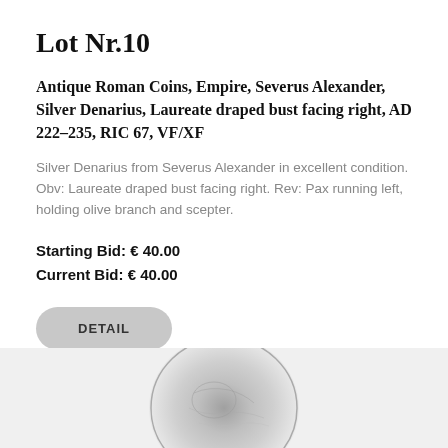Lot Nr.10
Antique Roman Coins, Empire, Severus Alexander, Silver Denarius, Laureate draped bust facing right, AD 222-235, RIC 67, VF/XF
Silver Denarius from Severus Alexander in excellent condition. Obv: Laureate draped bust facing right. Rev: Pax running left, holding olive branch and scepter.
Starting Bid: € 40.00
Current Bid: € 40.00
[Figure (other): Button labeled DETAIL]
[Figure (photo): Partial image of a silver Roman coin at the bottom of the page]